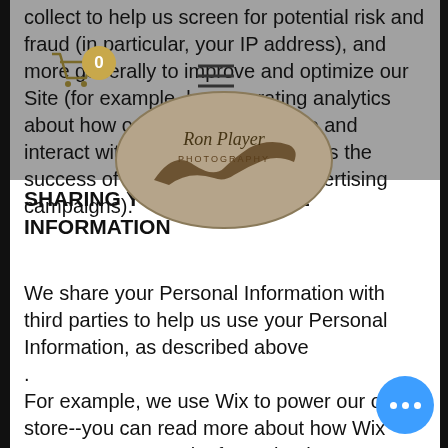collect to help us screen for potential risk and fraud (in particular, your IP address), and more generally to improve and optimize our Site (for example, by generating analytics about how our customers browse and interact with the Site, and to assess the success of our marketing and advertising campaigns).
[Figure (logo): Oval logo with eagle and cursive text 'Ron Player']
SHARING YOUR PERSONAL INFORMATION
We share your Personal Information with third parties to help us use your Personal Information, as described above.
For example, we use Wix to power our online store--you can read more about how Wix uses your Personal Information here:  https://www.wix.com/about/privacy.
We also use Google Analytics to help us understand how our customers use the Site--you can read more about how Google uses your Personal Information